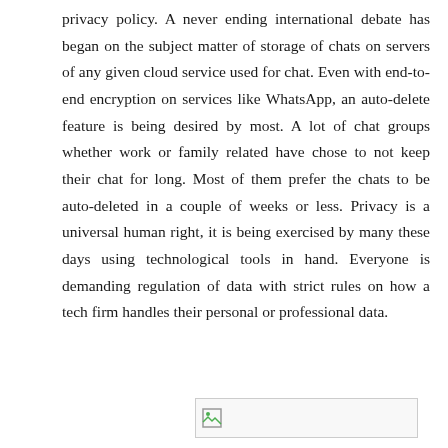privacy policy. A never ending international debate has began on the subject matter of storage of chats on servers of any given cloud service used for chat. Even with end-to-end encryption on services like WhatsApp, an auto-delete feature is being desired by most. A lot of chat groups whether work or family related have chose to not keep their chat for long. Most of them prefer the chats to be auto-deleted in a couple of weeks or less. Privacy is a universal human right, it is being exercised by many these days using technological tools in hand. Everyone is demanding regulation of data with strict rules on how a tech firm handles their personal or professional data.
[Figure (other): A placeholder image box with a broken image icon in the lower portion of the page.]